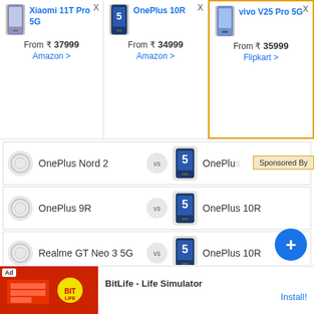[Figure (screenshot): Product comparison header with three phone cards: Xiaomi 11T Pro 5G from ₹37999 on Amazon, OnePlus 10R from ₹34999 on Amazon, vivo V25 Pro 5G from ₹35999 on Flipkart (highlighted with orange border and Sponsored By badge)]
OnePlus Nord 2 vs OnePlus [10R]
OnePlus 9R vs OnePlus 10R
Realme GT Neo 3 5G vs OnePlus 10R
OnePlus 10R vs Nothing Phone 1
OnePlus 10R vs OnePlus Nord CE 2 5G
OnePlus 9 Pro vs OnePlus 10R
[Figure (screenshot): BitLife - Life Simulator advertisement banner at bottom with Install button]